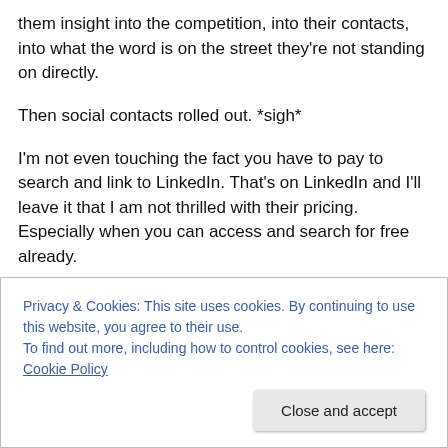them insight into the competition, into their contacts, into what the word is on the street they're not standing on directly.
Then social contacts rolled out. *sigh*
I'm not even touching the fact you have to pay to search and link to LinkedIn. That's on LinkedIn and I'll leave it that I am not thrilled with their pricing. Especially when you can access and search for free already.
Twitter and Facebook connections are currently free and
Privacy & Cookies: This site uses cookies. By continuing to use this website, you agree to their use.
To find out more, including how to control cookies, see here: Cookie Policy